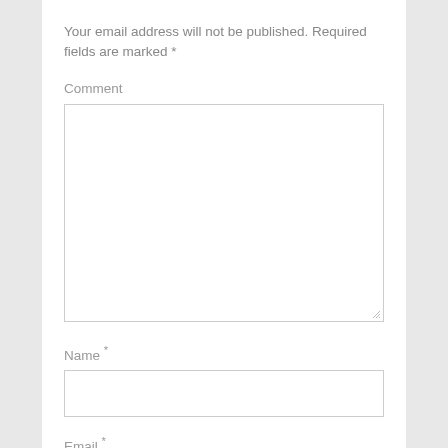Your email address will not be published. Required fields are marked *
Comment
[Figure (other): Empty comment textarea input box with resize handle]
Name *
[Figure (other): Empty name input text field]
Email *